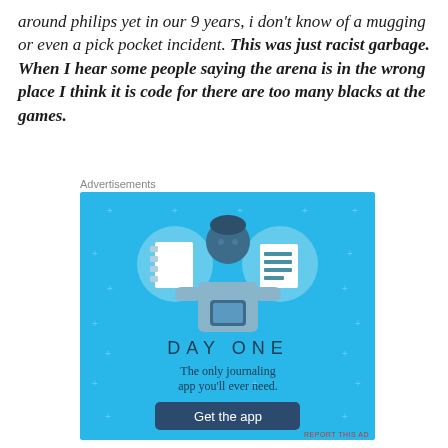around philips yet in our 9 years, i don't know of a mugging or even a pick pocket incident. This was just racist garbage. When I hear some people saying the arena is in the wrong place I think it is code for there are too many blacks at the games.
Advertisements
[Figure (illustration): Day One journaling app advertisement on a light blue background with star/plus decorations. Shows a cartoon person holding a phone flanked by two circular icons showing a notebook and a lined document. Text reads 'DAY ONE' in spaced letters, 'The only journaling app you'll ever need.' and a dark button labeled 'Get the app'.]